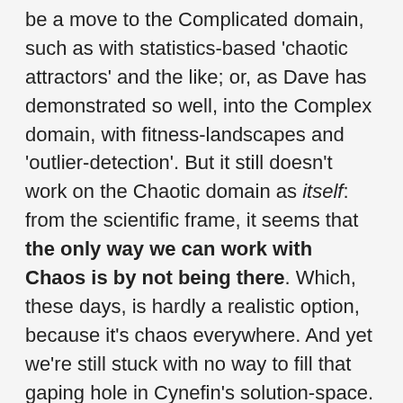be a move to the Complicated domain, such as with statistics-based 'chaotic attractors' and the like; or, as Dave has demonstrated so well, into the Complex domain, with fitness-landscapes and 'outlier-detection'. But it still doesn't work on the Chaotic domain as itself: from the scientific frame, it seems that the only way we can work with Chaos is by not being there. Which, these days, is hardly a realistic option, because it's chaos everywhere. And yet we're still stuck with no way to fill that gaping hole in Cynefin's solution-space.
My own background is almost the opposite to Dave's. Although I majored in sciences all the way through school, at university-level I switched over to the arts: specifically, to graphic-design –